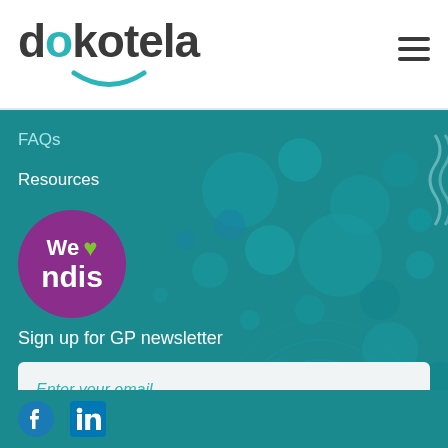[Figure (logo): Dokotela company logo with teal colored letter 'o' and a teal smile arc underneath]
[Figure (other): Hamburger menu icon (three horizontal lines) in top right corner]
FAQs
Resources
[Figure (logo): We love NDIS badge - purple circle with white text 'We' and 'ndis' with a green heart icon]
Sign up for GP newsletter
Enter your email
[Figure (other): Arrow right submit button in teal color]
[Figure (other): Facebook and LinkedIn social media icons at bottom]